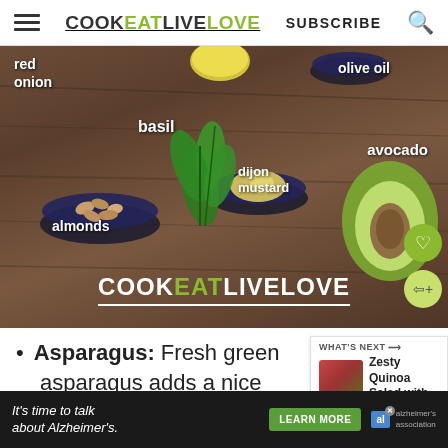COOK EAT LIVE LOVE | SUBSCRIBE
[Figure (photo): Flat-lay food photo on wooden background showing ingredients labeled: red onion, basil, olive oil, almonds, dijon mustard, avocado. COOK EAT LIVE LOVE logo overlaid at bottom.]
Asparagus: Fresh green asparagus adds a nice contrast
WHAT'S NEXT → Zesty Quinoa Salad with...
[Figure (photo): Advertisement: It's time to talk about Alzheimer's. LEARN MORE. Alzheimer's Association logo.]